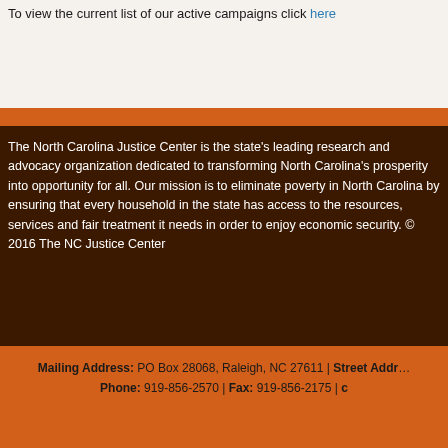To view the current list of our active campaigns click here
The North Carolina Justice Center is the state's leading research and advocacy organization dedicated to transforming North Carolina's prosperity into opportunity for all. Our mission is to eliminate poverty in North Carolina by ensuring that every household in the state has access to the resources, services and fair treatment it needs in order to enjoy economic security. © 2016 The NC Justice Center
Mailing Address: PO Box 28068, Raleigh, NC 27611 | Street Addr… Phone: 919-856-2570 | Fax: 919-856-2175 |